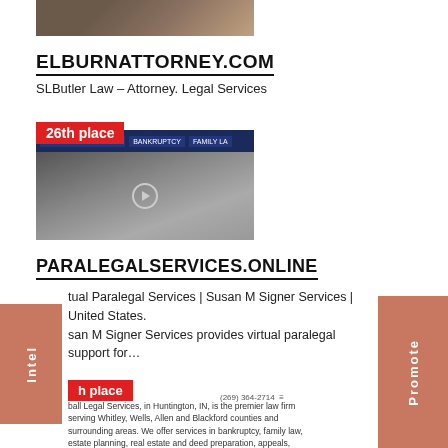[Figure (photo): Top cropped image of law books with glasses]
ELBURNATTORNEY.COM
SLButler Law – Attorney. Legal Services
[Figure (screenshot): Screenshot of a legal website with dark navigation bar showing TRUSTS AND ESTATES, BANKRUPTCY, FAMILY LA tabs, and a computer/desk background image with a play button overlay. Labeled '26th place' badge.]
PARALEGALSERVICES.ONLINE
tual Paralegal Services | Susan M Signer Services | United States. san M Signer Services provides virtual paralegal support for…
h place
ball Legal Services, in Huntington, IN, is the premier law firm serving Whitley, Wells, Allen and Blackford counties and surrounding areas. We offer services in bankruptcy, family law, estate planning, real estate and deed preparation, appeals, criminal defense, litigation and much more. For more information
Intel
Promote